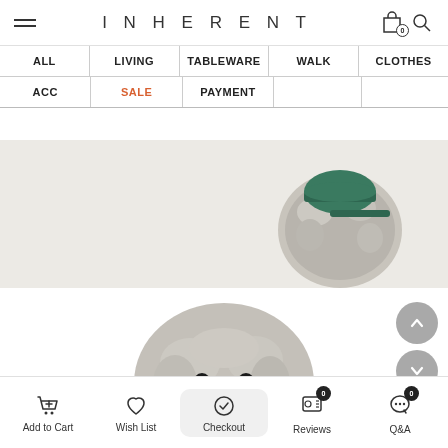INHERENT — navigation header with hamburger menu, logo, bag and search icons
| ALL | LIVING | TABLEWARE | WALK | CLOTHES |
| --- | --- | --- | --- | --- |
| ACC | SALE | PAYMENT |  |  |
[Figure (photo): Top-down view of a small fluffy grey dog wearing a green cap, on white background]
[Figure (photo): Front-facing fluffy grey poodle-mix dog wearing a plaid collar, on white background]
Add to Cart | Wish List | Checkout | Reviews (0) | Q&A (0)